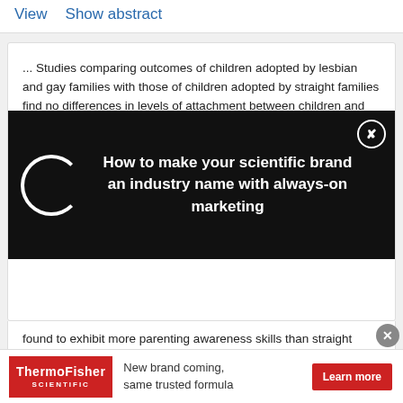View   Show abstract
... Studies comparing outcomes of children adopted by lesbian and gay families with those of children adopted by straight families find no differences in levels of attachment between children and their adoptive parents or in children's internalizing and externalizing behaviors (Erich, Hall, Kanenberg & Case, 2009;Erich, Kanenberg, Case, Allen, & Bogdanes 2009). Studies comparing lesbian and gay parents with straight parents show
[Figure (other): Black overlay advertisement with spinning loader circle and text: How to make your scientific brand an industry name with always-on marketing. Close button (X) in top right corner.]
found to exhibit more parenting awareness skills than straight couples (Flaks, Ficher, Masterpasqua & Joseph, 1995). ...
Advertisement
[Figure (other): Thermo Fisher Scientific banner advertisement: New brand coming, same trusted formula. Learn more button.]